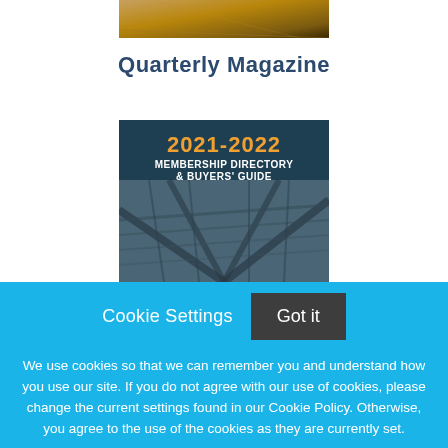[Figure (photo): Partial top image, appears to be a warm-toned photo (possibly wood or architectural surface)]
Quarterly Magazine
[Figure (illustration): 2021-2022 Membership Directory & Buyers' Guide cover image showing structural steel/roof trusses with dark teal background and orange/white text]
Cookie Settings
Got it
We use cookies so that we can remember you and understand how you use our site. If you do not agree with our use of cookies, please change the current settings found in our Cookie Policy. Otherwise, you agree to the use of the cookies as they are currently set.